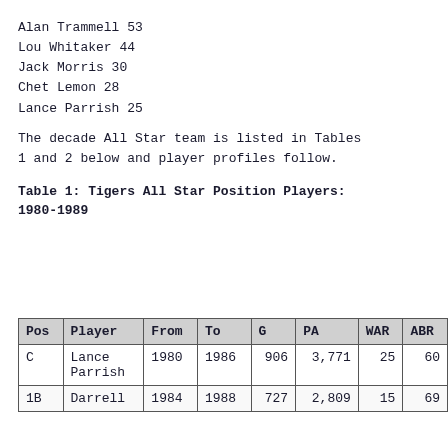Alan Trammell 53
Lou Whitaker 44
Jack Morris 30
Chet Lemon 28
Lance Parrish 25
The decade All Star team is listed in Tables 1 and 2 below and player profiles follow.
Table 1: Tigers All Star Position Players: 1980-1989
| Pos | Player | From | To | G | PA | WAR | ABR |
| --- | --- | --- | --- | --- | --- | --- | --- |
| C | Lance Parrish | 1980 | 1986 | 906 | 3,771 | 25 | 60 |
| 1B | Darrell | 1984 | 1988 | 727 | 2,809 | 15 | 69 |